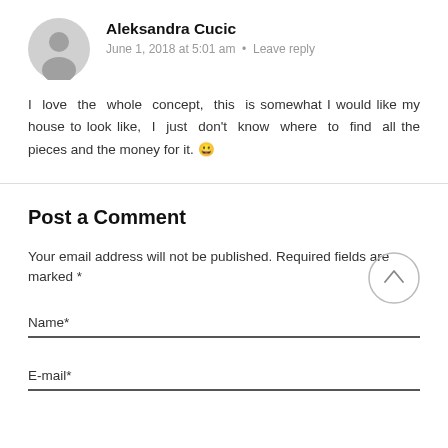Aleksandra Cucic
June 1, 2018 at 5:01 am • Leave reply
I love the whole concept, this is somewhat I would like my house to look like, I just don't know where to find all the pieces and the money for it. 😀
Post a Comment
Your email address will not be published. Required fields are marked *
Name*
E-mail*